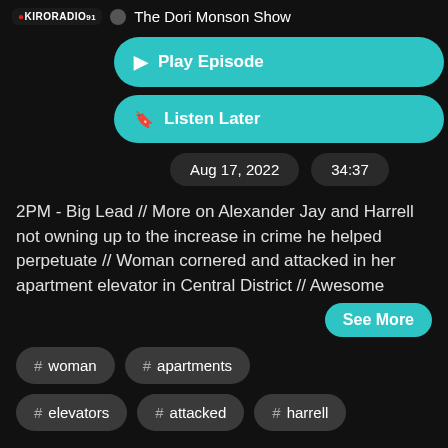KIRO RADIO — The Dori Monson Show
▶ Play Episode
🔖 Listen Later
Aug 17, 2022   34:37
2PM - Big Lead // More on Alexander Jay and Harrell not owning up to the increase in crime he helped perpetuate // Woman cornered and attacked in her apartment elevator in Central District // Awesome
See More
# woman
# apartments
# elevators
# attacked
# harrell